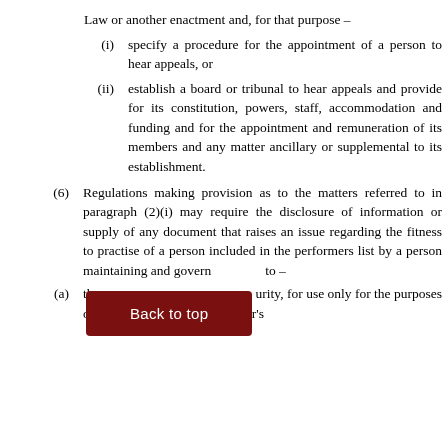Law or another enactment and, for that purpose –
(i)    specify a procedure for the appointment of a person to hear appeals, or
(ii)    establish a board or tribunal to hear appeals and provide for its constitution, powers, staff, accommodation and funding and for the appointment and remuneration of its members and any matter ancillary or supplemental to its establishment.
(6)    Regulations making provision as to the matters referred to in paragraph (2)(i) may require the disclosure of information or supply of any document that raises an issue regarding the fitness to practise of a person included in the performers list by a person maintaining and governing – to –
(a)    the [Back to top] urity, for use only for the purposes of the discharge of that Minister's